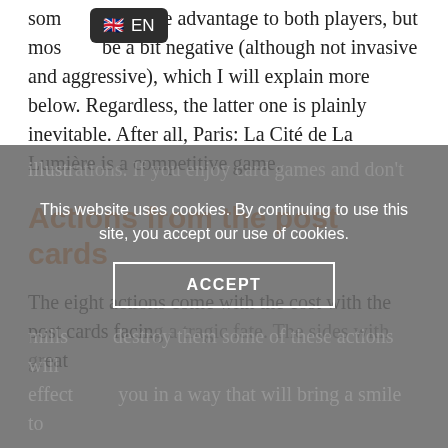some can give advantage to both players, but mostly be a bit negative (although not invasive and aggressive), which I will explain more below. Regardless, the latter one is plainly inevitable. After all, Paris: La Cité de La Lumière is a competitive game.
Actions from the post cards
The eight actions come with the cost with the post cards facing a tragic fate. The sides with great illustrations. If you enjoy card games and don't mind partially destroy them some of these actions will effect you in a way that will bring a smile to your face, while other might bring a sadness.
[Figure (screenshot): Cookie consent overlay with grey background, text: 'This website uses cookies. By continuing to use this site, you accept our use of cookies.' and an ACCEPT button.]